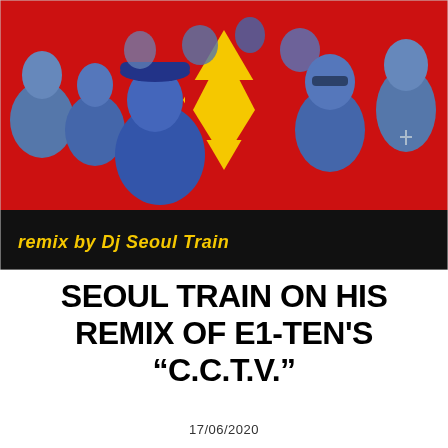[Figure (illustration): Comic-book style illustration with a red background showing a group of stylized blue-toned figures facing each other. A yellow and black star/diamond shape is visible in the center background. Text in yellow reads 'remix by Dj Seoul Train' in the lower left corner.]
SEOUL TRAIN ON HIS REMIX OF E1-TEN'S “C.C.T.V.”
17/06/2020